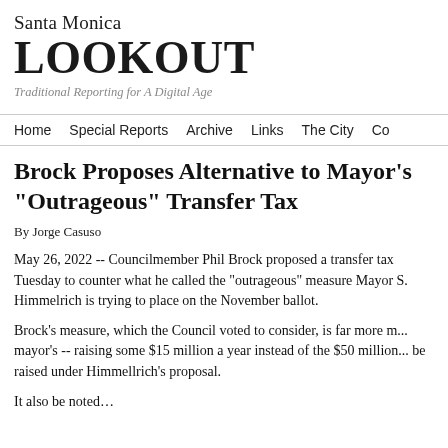Santa Monica LOOKOUT
Traditional Reporting for A Digital Age
Home   Special Reports   Archive   Links   The City   Co...
Brock Proposes Alternative to Mayor's "Outrageous" Transfer Tax
By Jorge Casuso
May 26, 2022 -- Councilmember Phil Brock proposed a transfer tax Tuesday to counter what he called the "outrageous" measure Mayor S. Himmelrich is trying to place on the November ballot.
Brock's measure, which the Council voted to consider, is far more m... mayor's -- raising some $15 million a year instead of the $50 million... be raised under Himmellrich's proposal.
It also be noted...